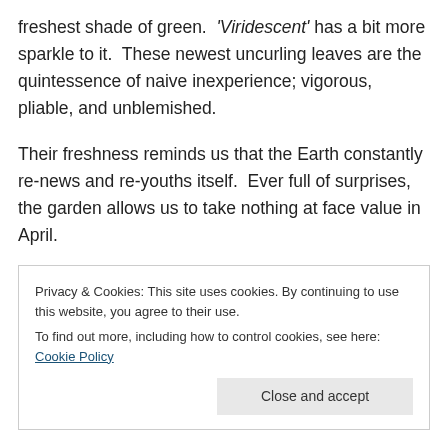freshest shade of green.  'Viridescent' has a bit more sparkle to it.  These newest uncurling leaves are the quintessence of naive inexperience; vigorous, pliable, and unblemished.
Their freshness reminds us that the Earth constantly renews and re-youths itself.  Ever full of surprises, the garden allows us to take nothing at face value in April.
Privacy & Cookies: This site uses cookies. By continuing to use this website, you agree to their use.
To find out more, including how to control cookies, see here: Cookie Policy